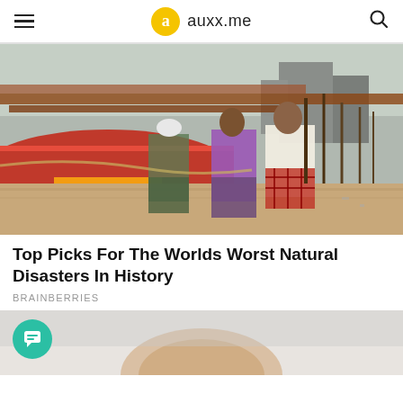a auxx.me
[Figure (photo): People pushing fishing boats on a sandy beach during a storm, with red and blue wooden boats visible in the background.]
Top Picks For The Worlds Worst Natural Disasters In History
BRAINBERRIES
[Figure (photo): Partial view of a person with blonde hair, bottom of the page, with a teal chat bubble icon overlay.]